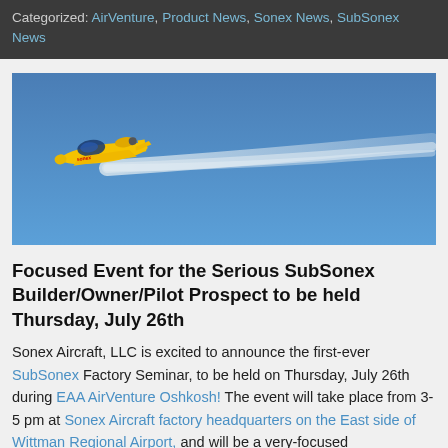Categorized: AirVenture, Product News, Sonex News, SubSonex News
[Figure (photo): Yellow SubSonex jet aircraft in flight against a blue sky, leaving a white smoke trail behind it]
Focused Event for the Serious SubSonex Builder/Owner/Pilot Prospect to be held Thursday, July 26th
Sonex Aircraft, LLC is excited to announce the first-ever SubSonex Factory Seminar, to be held on Thursday, July 26th during EAA AirVenture Oshkosh! The event will take place from 3-5 pm at Sonex Aircraft factory headquarters on the East side of Wittman Regional Airport, and will be a very-focused